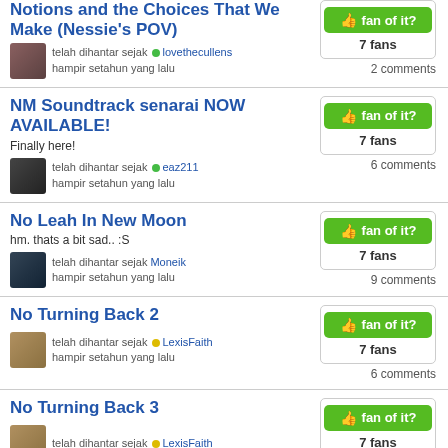Notions and the Choices That We Make (Nessie's POV) — telah dihantar sejak lovethecullens hampir setahun yang lalu — 7 fans, 2 comments
NM Soundtrack senarai NOW AVAILABLE! Finally here! — telah dihantar sejak eaz211 hampir setahun yang lalu — 7 fans, 6 comments
No Leah In New Moon hm. thats a bit sad.. :S — telah dihantar sejak Moneik hampir setahun yang lalu — 7 fans, 9 comments
No Turning Back 2 — telah dihantar sejak LexisFaith hampir setahun yang lalu — 7 fans, 6 comments
No Turning Back 3 — telah dihantar sejak LexisFaith — 7 fans